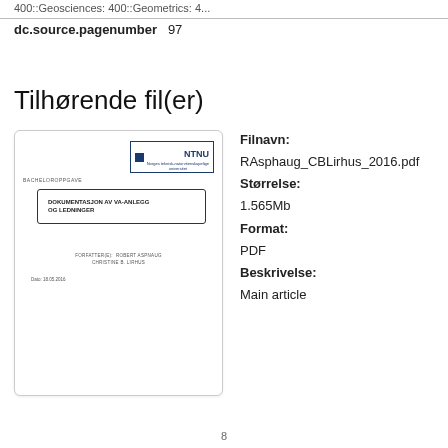400::Geosciences: 400::Geometrics: 4...
dc.source.pagenumber   97
Tilhørende fil(er)
[Figure (illustration): Thumbnail of a bachelor thesis cover page with NTNU logo, title 'DOKUMENTASJON AV VA-ANLEGG OG LEDNINGER', authors ROBERT ASPNAUG and CHRISTINE B. LIRHUS, date 18.05.2016]
Filnavn:
RAsphaug_CBLirhus_2016.pdf
Størrelse:
1.565Mb
Format:
PDF
Beskrivelse:
Main article
8